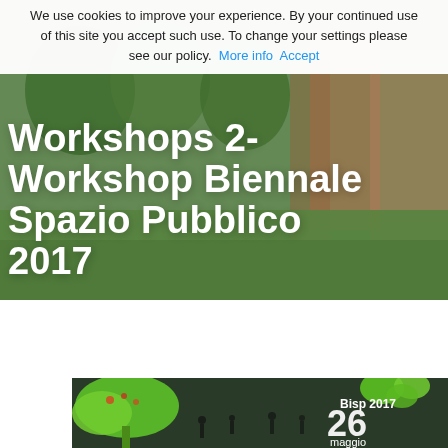We use cookies to improve your experience. By your continued use of this site you accept such use. To change your settings please see our policy. More info  Accept
Workshops 2- Workshop Biennale Spazio Pubblico 2017
[Figure (photo): Bottom banner for Bisp 2017, showing people in a public space with green trees, date 26 maggio, Bisp 2017 text overlay]